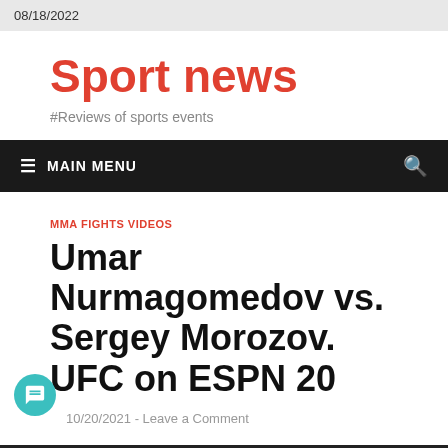08/18/2022
Sport news
#Reviews of sports events
≡ MAIN MENU
MMA FIGHTS VIDEOS
Umar Nurmagomedov vs. Sergey Morozov. UFC on ESPN 20
10/20/2021 - Leave a Comment